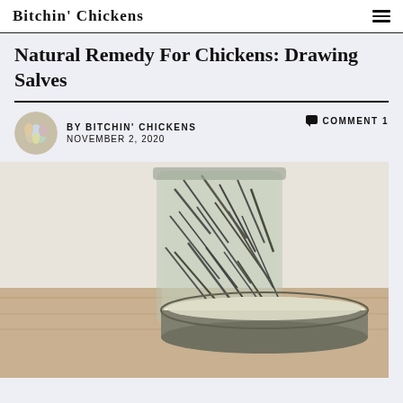Bitchin' Chickens
Natural Remedy For Chickens: Drawing Salves
BY BITCHIN' CHICKENS  NOVEMBER 2, 2020  COMMENT 1
[Figure (photo): A round tin of salve and a glass jar filled with dried herbs/plant material, both sitting on a wooden surface with a light background.]